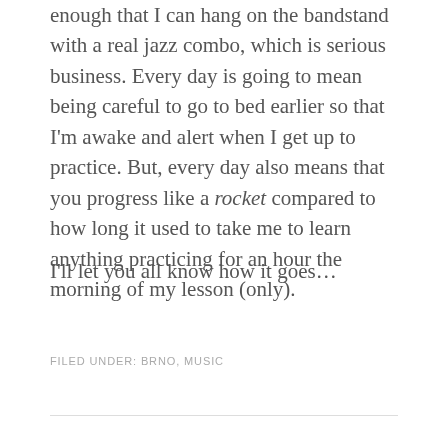enough that I can hang on the bandstand with a real jazz combo, which is serious business. Every day is going to mean being careful to go to bed earlier so that I'm awake and alert when I get up to practice. But, every day also means that you progress like a rocket compared to how long it used to take me to learn anything practicing for an hour the morning of my lesson (only).
I'll let you all know how it goes…
FILED UNDER: BRNO, MUSIC